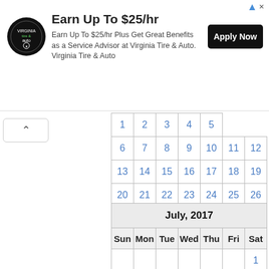[Figure (screenshot): Advertisement banner for Virginia Tire & Auto: 'Earn Up To $25/hr Plus Get Great Benefits as a Service Advisor at Virginia Tire & Auto.' with Apply Now button and logo.]
| Sun | Mon | Tue | Wed | Thu | Fri | Sat |
| --- | --- | --- | --- | --- | --- | --- |
|  |  | 1 | 2 | 3 | 4 | 5 |
| 6 | 7 | 8 | 9 | 10 | 11 | 12 |
| 13 | 14 | 15 | 16 | 17 | 18 | 19 |
| 20 | 21 | 22 | 23 | 24 | 25 | 26 |
| 27 | 28 | 29 | 30 | 31 |  |  |
| Sun | Mon | Tue | Wed | Thu | Fri | Sat |
| --- | --- | --- | --- | --- | --- | --- |
|  |  |  |  |  |  | 1 |
| 2 | 3 | 4 | 5 | 6 | 7 | 8 |
| 9 | 10 | 11 | 12 | 13 | 14 | 15 |
| 16 | 17 | 18 | 19 | 20 | 21 | 22 |